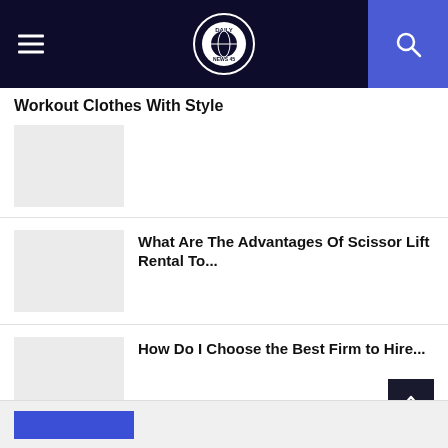Daily News 45 - navigation bar with hamburger menu and search
Workout Clothes With Style
[Figure (photo): Thumbnail placeholder image for Workout Clothes With Style article]
What Are The Advantages Of Scissor Lift Rental To...
[Figure (photo): Thumbnail placeholder image for Scissor Lift Rental article]
How Do I Choose the Best Firm to Hire...
[Figure (photo): Thumbnail placeholder image for Best Firm to Hire article]
Footer with blue bar element